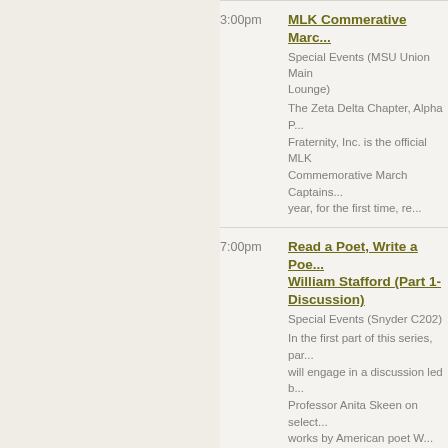3:00pm | MLK Commerative Marc... | Special Events (MSU Union Main Lounge) | The Zeta Delta Chapter, Alpha P... Fraternity, Inc. is the official MLK Commemorative March Captains... year, for the first time, re...
7:00pm | Read a Poet, Write a Poe... William Stafford (Part 1- Discussion) | Special Events (Snyder C202) | In the first part of this series, par... will engage in a discussion led b... Professor Anita Skeen on select... works by American poet W...
7:00pm | Martin Luther King Jr, Tr... Martin, and MSU | Public Programs (115 Internatio... Center) | The College of Arts and Letters w... conduct a panel discussion in ho... Martin Luther King...